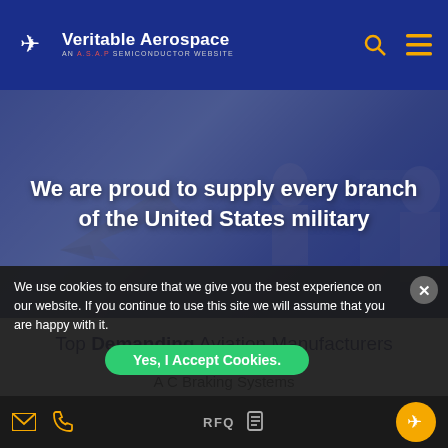Veritable Aerospace — AN A.S.A.P SEMICONDUCTOR WEBSITE
[Figure (photo): Hero banner with military aircraft silhouettes and text overlay: 'We are proud to supply every branch of the United States military']
Top Demanding Aviation Manufacturers
A C Braking Systems
Mccauley Propeller
Mitsubishi Electric
We use cookies to ensure that we give you the best experience on our website. If you continue to use this site we will assume that you are happy with it.
RFQ | Yes, I Accept Cookies.